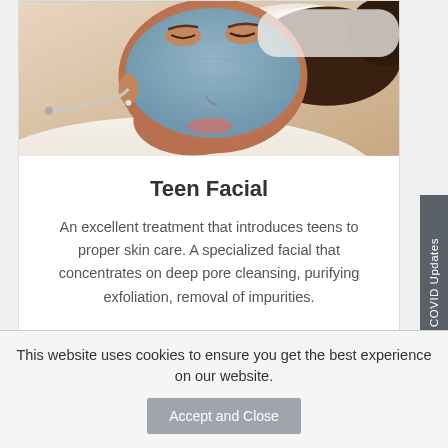[Figure (photo): Woman lying down with a blue clay face mask applied, wearing a white headband, receiving a facial treatment]
Teen Facial
An excellent treatment that introduces teens to proper skin care. A specialized facial that concentrates on deep pore cleansing, purifying exfoliation, removal of impurities.
$90
COVID Updates
This website uses cookies to ensure you get the best experience on our website.